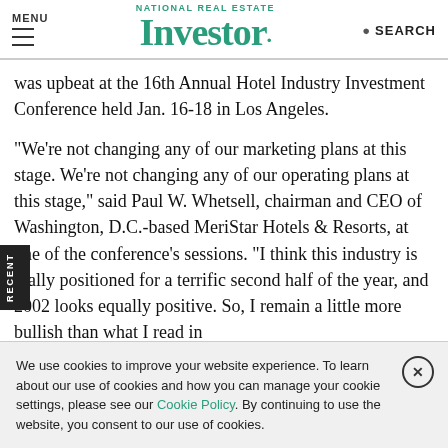MENU | NATIONAL REAL ESTATE Investor. | SEARCH
was upbeat at the 16th Annual Hotel Industry Investment Conference held Jan. 16-18 in Los Angeles.

"We're not changing any of our marketing plans at this stage. We're not changing any of our operating plans at this stage," said Paul W. Whetsell, chairman and CEO of Washington, D.C.-based MeriStar Hotels & Resorts, at one of the conference's sessions. "I think this industry is really positioned for a terrific second half of the year, and 2002 looks equally positive. So, I remain a little more bullish than what I read in
We use cookies to improve your website experience. To learn about our use of cookies and how you can manage your cookie settings, please see our Cookie Policy. By continuing to use the website, you consent to our use of cookies.